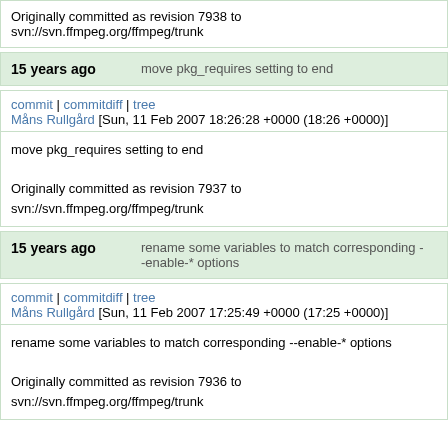Originally committed as revision 7938 to svn://svn.ffmpeg.org/ffmpeg/trunk
15 years ago   move pkg_requires setting to end
commit | commitdiff | tree
Måns Rullgård [Sun, 11 Feb 2007 18:26:28 +0000 (18:26 +0000)]
move pkg_requires setting to end

Originally committed as revision 7937 to svn://svn.ffmpeg.org/ffmpeg/trunk
15 years ago   rename some variables to match corresponding --enable-* options
commit | commitdiff | tree
Måns Rullgård [Sun, 11 Feb 2007 17:25:49 +0000 (17:25 +0000)]
rename some variables to match corresponding --enable-* options

Originally committed as revision 7936 to svn://svn.ffmpeg.org/ffmpeg/trunk